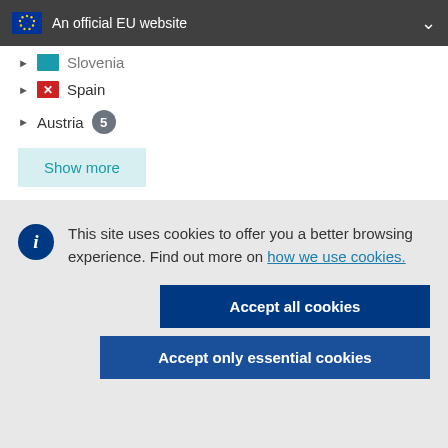An official EU website
Slovenia
Spain
Austria 5
Show more
Keywords
This site uses cookies to offer you a better browsing experience. Find out more on how we use cookies.
Accept all cookies
Accept only essential cookies